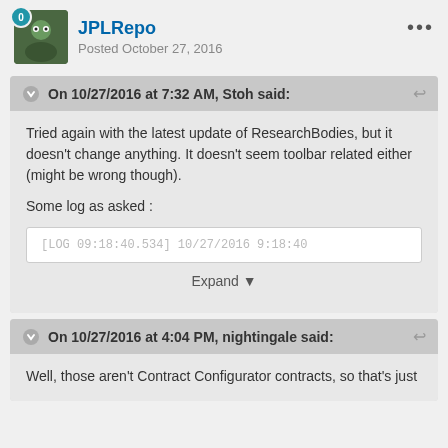JPLRepo
Posted October 27, 2016
On 10/27/2016 at 7:32 AM, Stoh said:
Tried again with the latest update of ResearchBodies, but it doesn't change anything. It doesn't seem toolbar related either (might be wrong though).

Some log as asked :
[LOG 09:18:40.534] 10/27/2016 9:18:40
Expand
On 10/27/2016 at 4:04 PM, nightingale said:
Well, those aren't Contract Configurator contracts, so that's just